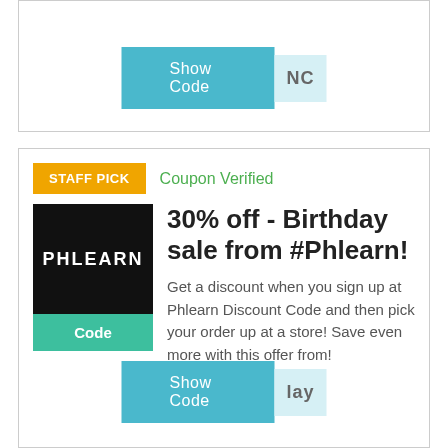[Figure (screenshot): Show Code button with teal background and 'NC' reveal on the right]
[Figure (screenshot): Staff Pick badge coupon card for Phlearn 30% off Birthday sale]
Coupon Verified
30% off - Birthday sale from #Phlearn!
Get a discount when you sign up at Phlearn Discount Code and then pick your order up at a store! Save even more with this offer from!
[Figure (screenshot): Show Code button with 'lay' reveal on the right]